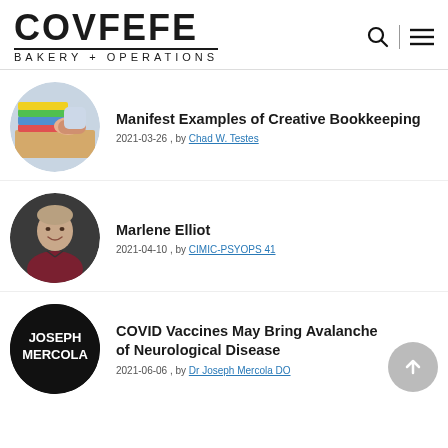COVFEFE BAKERY + OPERATIONS
[Figure (illustration): Circular thumbnail: person at desk with colorful notebooks and books]
Manifest Examples of Creative Bookkeeping
2021-03-26 , by Chad W. Testes
[Figure (photo): Circular thumbnail: portrait of woman (Marlene Elliot) with dark background]
Marlene Elliot
2021-04-10 , by CIMIC-PSYOPS 41
[Figure (illustration): Circular black thumbnail with white bold text: JOSEPH MERCOLA]
COVID Vaccines May Bring Avalanche of Neurological Disease
2021-06-06 , by Dr Joseph Mercola DO